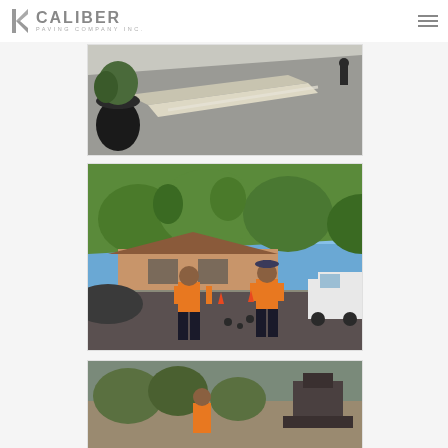[Figure (logo): Caliber Paving Company Inc. logo with stylized K icon in gray]
[Figure (photo): Construction photo showing a paved road/driveway surface with concrete curb work and a potted plant on the left side, worker visible in background]
[Figure (photo): Photo of two workers in orange safety shirts standing on a paved driveway with green hillside and residential house in background, white truck visible on right]
[Figure (photo): Partially visible construction/paving photo at bottom of page]